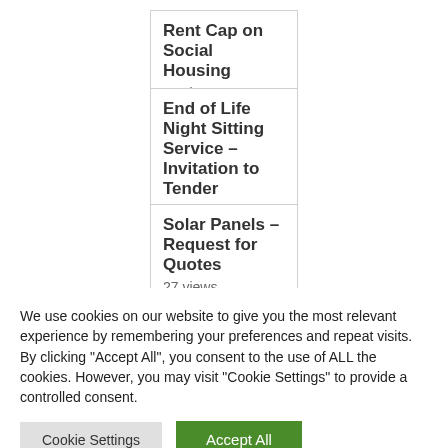Rent Cap on Social Housing
35 views
End of Life Night Sitting Service – Invitation to Tender
31 views
Solar Panels – Request for Quotes
27 views
Latest Updates on the Spread of
We use cookies on our website to give you the most relevant experience by remembering your preferences and repeat visits. By clicking "Accept All", you consent to the use of ALL the cookies. However, you may visit "Cookie Settings" to provide a controlled consent.